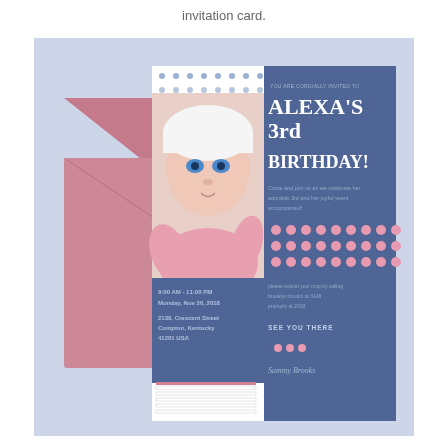invitation card.
[Figure (photo): A birthday invitation card for Alexa's 3rd birthday, shown alongside a pink envelope. The card has a blue background with a baby photo on the left side, bold white text reading ALEXA'S 3rd BIRTHDAY!, event details, pink polka dot decorations, and stripe patterns.]